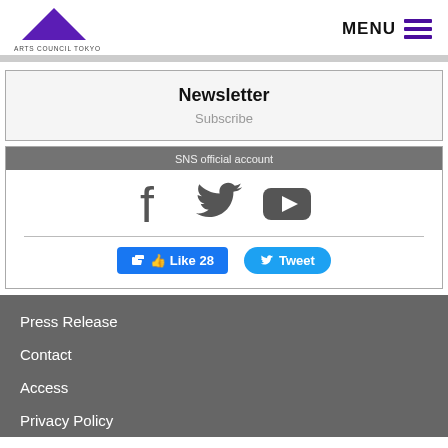ARTS COUNCIL TOKYO | MENU
Newsletter
Subscribe
SNS official account
[Figure (other): Social media icons: Facebook, Twitter, YouTube, with Like 28 and Tweet buttons]
Press Release
Contact
Access
Privacy Policy